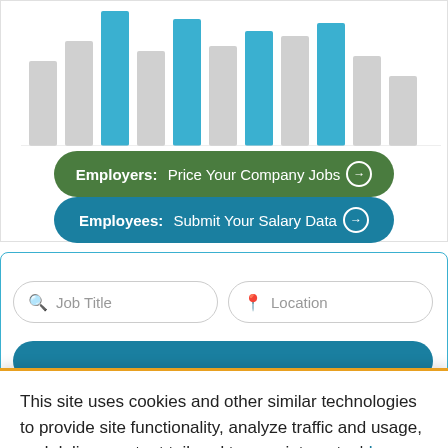[Figure (bar-chart): A partial bar chart showing salary distribution bars in blue and gray, clipped at top of page]
Employers: Price Your Company Jobs →
Employees: Submit Your Salary Data →
Job Title
Location
This site uses cookies and other similar technologies to provide site functionality, analyze traffic and usage, and deliver content tailored to your interests. | Learn More
I Accept